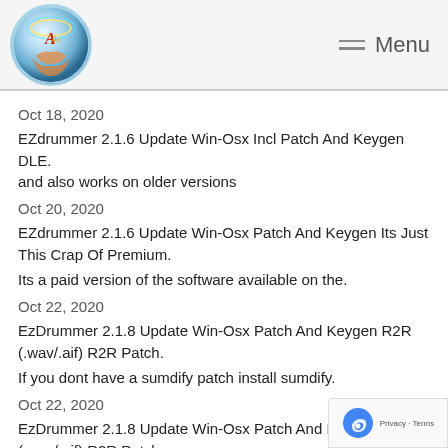Menu
Oct 18, 2020
EZdrummer 2.1.6 Update Win-Osx Incl Patch And Keygen DLE. and also works on older versions
Oct 20, 2020
EZdrummer 2.1.6 Update Win-Osx Patch And Keygen Its Just This Crap Of Premium.
Its a paid version of the software available on the.
Oct 22, 2020
EzDrummer 2.1.8 Update Win-Osx Patch And Keygen R2R (.wav/.aif) R2R Patch.
If you dont have a sumdify patch install sumdify.
Oct 22, 2020
EzDrummer 2.1.8 Update Win-Osx Patch And Keygen R2R (.wav/.aif) R2R Patch.